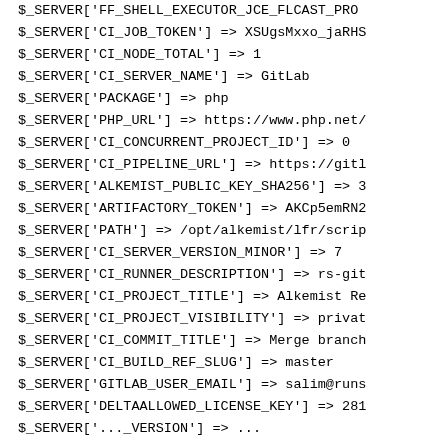$_SERVER['FF_SHELL_EXECUTOR_JCE_FLCASd_PR...
$_SERVER['CI_JOB_TOKEN'] => XSUgsMxxo_jaRHS
$_SERVER['CI_NODE_TOTAL'] => 1
$_SERVER['CI_SERVER_NAME'] => GitLab
$_SERVER['PACKAGE'] => php
$_SERVER['PHP_URL'] => https://www.php.net/
$_SERVER['CI_CONCURRENT_PROJECT_ID'] => 0
$_SERVER['CI_PIPELINE_URL'] => https://gitl
$_SERVER['ALKEMIST_PUBLIC_KEY_SHA256'] => 3
$_SERVER['ARTIFACTORY_TOKEN'] => AKCp5emRN2
$_SERVER['PATH'] => /opt/alkemist/lfr/scrip
$_SERVER['CI_SERVER_VERSION_MINOR'] => 7
$_SERVER['CI_RUNNER_DESCRIPTION'] => rs-git
$_SERVER['CI_PROJECT_TITLE'] => Alkemist Re
$_SERVER['CI_PROJECT_VISIBILITY'] => privat
$_SERVER['CI_COMMIT_TITLE'] => Merge branch
$_SERVER['CI_BUILD_REF_SLUG'] => master
$_SERVER['GITLAB_USER_EMAIL'] => salim@runs
$_SERVER['DELTAALLOWED_LICENSE_KEY'] => 281
$_SERVER['..._VERSION'] => ...